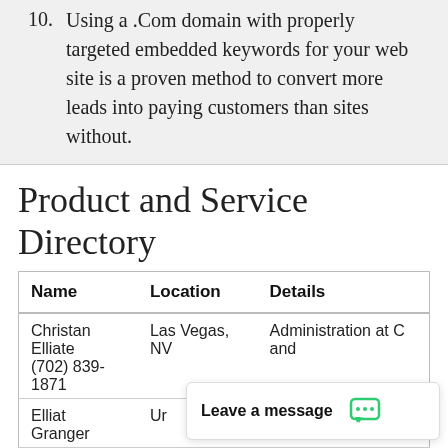10. Using a .Com domain with properly targeted embedded keywords for your web site is a proven method to convert more leads into paying customers than sites without.
Thank you for considering working with DomainMarket.com and SEO.com. We look forward to doing business with you!
Product and Service Directory
| Name | Location | Details |
| --- | --- | --- |
| Christan Elliate
(702) 839-1871 | Las Vegas, NV | Administration at C and |
| Elliat Granger | Ur... |  |